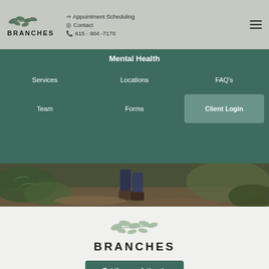[Figure (logo): Branches logo with leaf/branch icon and BRANCHES text in header]
Appointment Scheduling
Contact
615 - 904 -7170
Mental Health
Services
Locations
FAQ's
Team
Forms
Client Login
[Figure (photo): Person walking on a forest trail, close-up of legs and feet on leaf-covered ground]
[Figure (logo): Branches logo large centered with leaf/branch icon and BRANCHES text]
Get the newsletter ▶